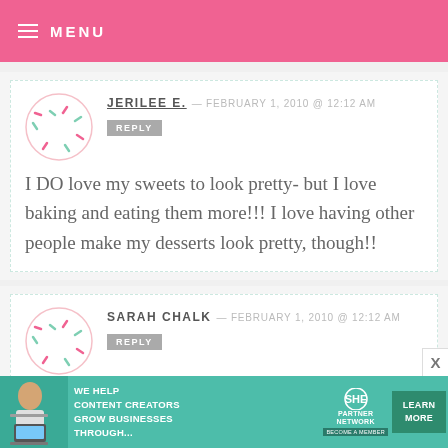MENU
JERILEE E. — FEBRUARY 1, 2010 @ 12:12 AM
REPLY
I DO love my sweets to look pretty- but I love baking and eating them more!!! I love having other people make my desserts look pretty, though!!
SARAH CHALK — FEBRUARY 1, 2010 @ 12:12 AM
REPLY
[Figure (infographic): SHE Partner Network advertisement banner with teal background, woman with laptop, text 'We help content creators grow businesses through...' and 'LEARN MORE' button]